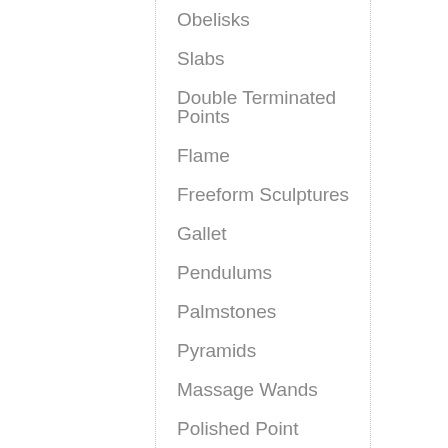Obelisks
Slabs
Double Terminated Points
Flame
Freeform Sculptures
Gallet
Pendulums
Palmstones
Pyramids
Massage Wands
Polished Point
Smooth Stones
Worry/Thumb stone
Fluorite
Crystal Carvings